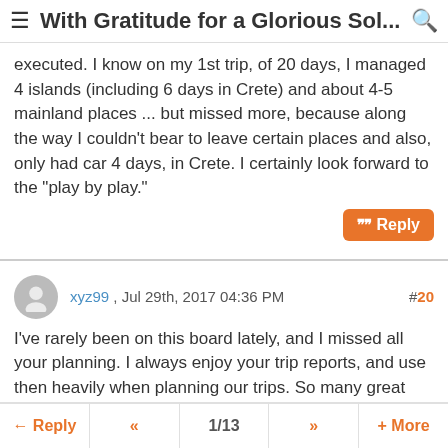≡ With Gratitude for a Glorious Sol... 🔍
executed.  I know on my 1st trip, of 20 days, I managed 4 islands (including 6 days in Crete) and about 4-5 mainland places ... but missed more, because along the way I couldn't bear to leave certain places and also, only had car 4 days, in Crete. I certainly look forward to the "play by play."
xyz99 , Jul 29th, 2017 04:36 PM  #20
I've rarely been on this board lately, and I missed all your planning. I always enjoy your trip reports, and use then heavily when planning our trips. So many great places and ideas, even though we usually travel slower and for shorter periods of time. Can't wait to hear more about your trip!
← Reply  «  1/13  »  + More